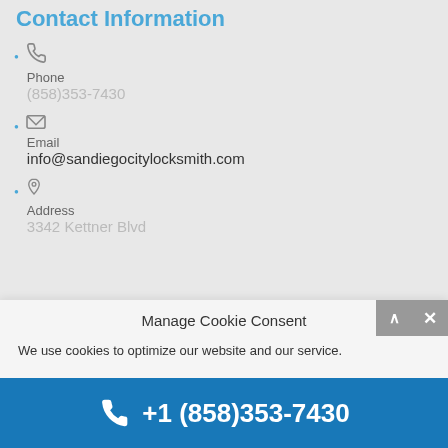Contact Information
Phone
(858)353-7430
Email
info@sandiegocitylocksmith.com
Address
3342 Kettner Blvd
Manage Cookie Consent
We use cookies to optimize our website and our service.
+1 (858)353-7430